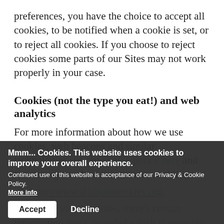preferences, you have the choice to accept all cookies, to be notified when a cookie is set, or to reject all cookies. If you choose to reject cookies some parts of our Sites may not work properly in your case.
Cookies (not the type you eat!) and web analytics
For more information about how we use cookies, web beacons and similar technologies see our cookie policy here and for more general information on cookies,
see http://www.allaboutcookies.org.
When you visit our Sites, there's certain information that's recorded which is generally anonymous information and does not reveal identity. If you're logged into your account some of this information could be associated
Mmm... Cookies. This website uses cookies to improve your overall experience.
Continued use of this website is acceptance of our Privacy & Cookie Policy.
More info
Accept   Decline